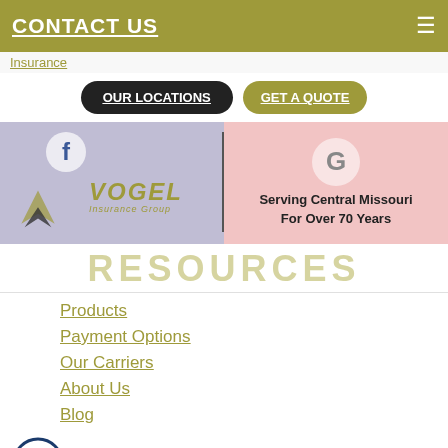CONTACT US
Insurance
OUR LOCATIONS | GET A QUOTE
[Figure (logo): Vogel Insurance Group logo with Facebook icon and divider, beside Google G icon and text 'Serving Central Missouri For Over 70 Years']
RESOURCES
Products
Payment Options
Our Carriers
About Us
Blog
Refer A Friend
CONTACT US